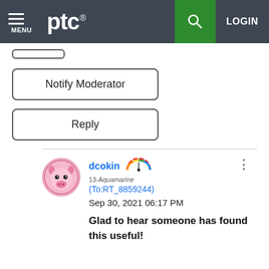[Figure (screenshot): PTC website navigation bar with hamburger menu, PTC logo, green search button, and LOGIN text on dark gray background]
[Figure (other): Small rounded rectangle button (partially visible)]
Notify Moderator
Reply
[Figure (photo): Circular avatar with a pink cartoon pig illustration]
dcokin
[Figure (infographic): Speedometer/gauge rank badge with rainbow colors]
13-Aquamarine
(To:RT_8859244)
Sep 30, 2021 06:17 PM
Glad to hear someone has found this useful!